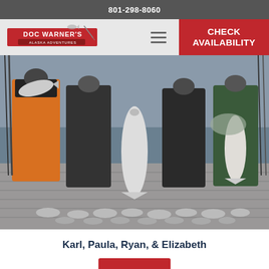801-298-8060
[Figure (logo): Doc Warner's Alaska Adventures logo with red banner and text]
[Figure (other): Hamburger menu icon (three horizontal lines)]
CHECK AVAILABILITY
[Figure (photo): Group of four people standing on a dock holding large halibut and salmon fish, with more fish laid out on the ground in front of them. Alaska fishing charter photo.]
Karl, Paula, Ryan, & Elizabeth